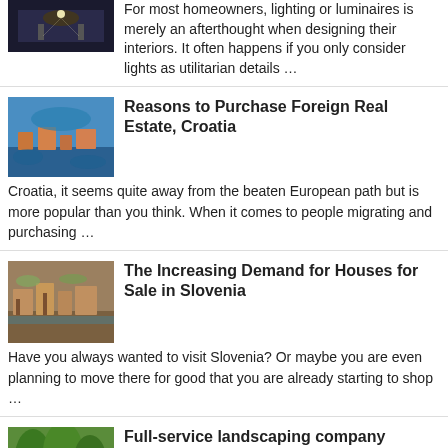[Figure (photo): Dark image of lighting/luminaires in an interior setting]
For most homeowners, lighting or luminaires is merely an afterthought when designing their interiors. It often happens if you only consider lights as utilitarian details …
[Figure (photo): Aerial view of a Croatian coastal town]
Reasons to Purchase Foreign Real Estate, Croatia
Croatia, it seems quite away from the beaten European path but is more popular than you think. When it comes to people migrating and purchasing …
[Figure (photo): Aerial view of a Slovenian town]
The Increasing Demand for Houses for Sale in Slovenia
Have you always wanted to visit Slovenia? Or maybe you are even planning to move there for good that you are already starting to shop …
[Figure (photo): Green landscaped garden with trees]
Full-service landscaping company Downriver Michigan
Cutting Edge Landscaping company Downriver Michigan is a full-service landscaping company that has been servicing